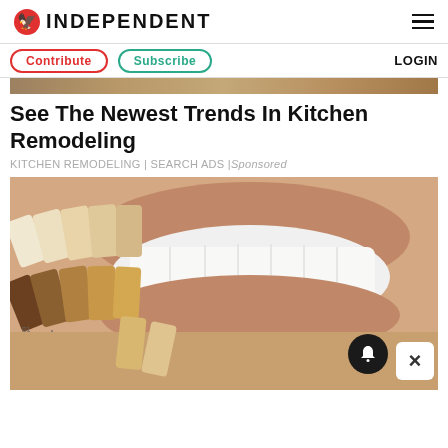INDEPENDENT
Contribute | Subscribe | LOGIN
[Figure (photo): Top banner image of kitchen remodeling surface/countertop]
See The Newest Trends In Kitchen Remodeling
KITCHEN REMODELING | SEARCH ADS | Sponsored
[Figure (photo): Photo of a person smiling showing white teeth with a dental shade guide/veneer color swatches fanned out in front. A notification bell icon and close (X) button are overlaid in the bottom right corner.]